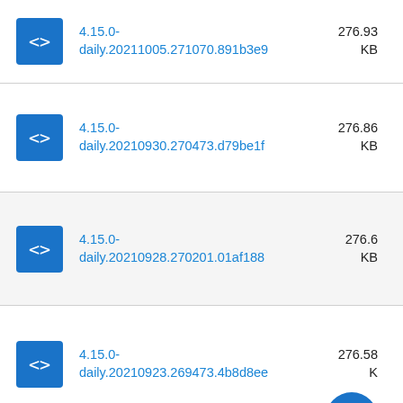4.15.0-daily.20211005.271070.891b3e9 276.93 KB
4.15.0-daily.20210930.270473.d79be1f 276.86 KB
4.15.0-daily.20210928.270201.01af188 276.6 KB
4.15.0-daily.20210923.269473.4b8d8ee 276.58 KB